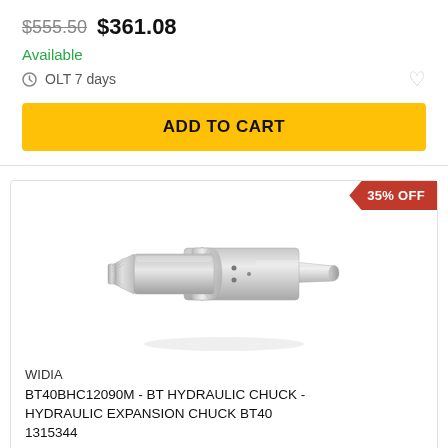$555.50  $361.08
Available
OLT 7 days
ADD TO CART
[Figure (photo): WIDIA BT hydraulic chuck product photo on white background, showing a metallic cylindrical hydraulic expansion chuck with tapered shank]
35% OFF
WIDIA
BT40BHC12090M - BT HYDRAULIC CHUCK - HYDRAULIC EXPANSION CHUCK BT40 1315344